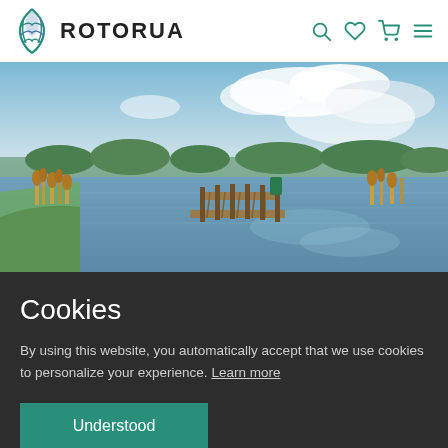ROTORUA
[Figure (photo): Scenic lake view with a wooden dock/pier extending into calm water, reeds and green trees in the background, partly cloudy sky reflected in the water.]
Cookies
By using this website, you automatically accept that we use cookies to personalize your experience. Learn more
Understood